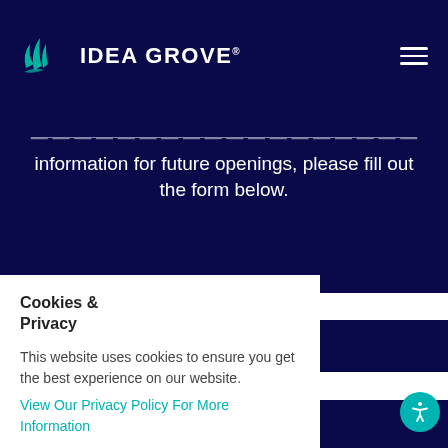IDEA GROVE®
...information for future openings, please fill out the form below.
Cookies & Privacy

This website uses cookies to ensure you get the best experience on our website. View Our Privacy Policy For More Information
Accept
Decline